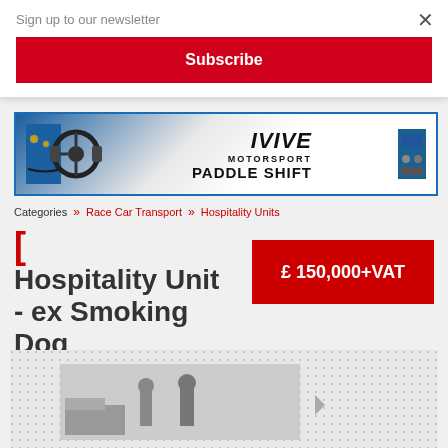Sign up to our newsletter
Subscribe
[Figure (photo): MME Motorsport Paddle Shift advertisement banner showing steering wheel hardware components]
Categories » Race Car Transport » Hospitality Units
[ Hospitality Unit - ex Smoking Dog ]
£ 150,000+VAT
[Figure (photo): Partial view of hospitality unit photo with dot pattern background]